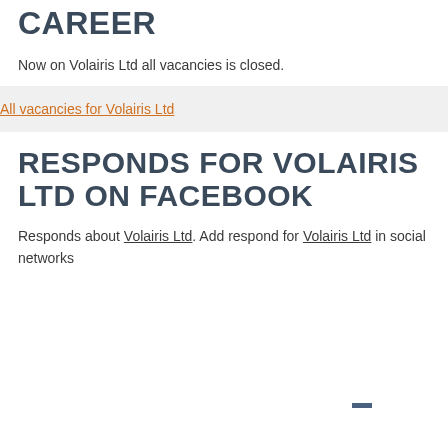WORKING, FRAMEWORK, CAREER
Now on Volairis Ltd all vacancies is closed.
All vacancies for Volairis Ltd
RESPONDS FOR VOLAIRIS LTD ON FACEBOOK
Responds about Volairis Ltd. Add respond for Volairis Ltd in social networks